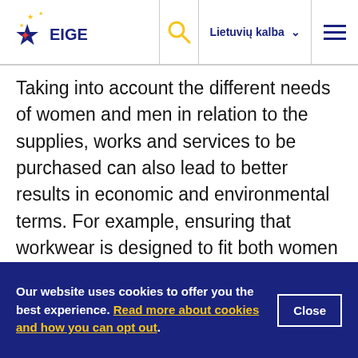EIGE header navigation with logo, search, language selector (Lietuvių kalba), and menu
Taking into account the different needs of women and men in relation to the supplies, works and services to be purchased can also lead to better results in economic and environmental terms. For example, ensuring that workwear is designed to fit both women and men comfortably will help to increase its lifespan, thus reducing the environmental and economic impact of frequent replacement. The same contract might include
Our website uses cookies to offer you the best experience. Read more about cookies and how you can opt out.